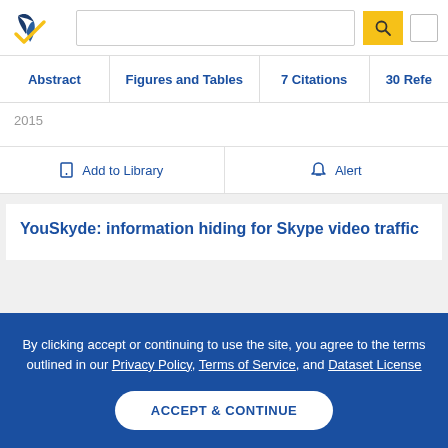[Figure (logo): Semantic Scholar logo — stylized open book with blue and gold checkmark]
Abstract | Figures and Tables | 7 Citations | 30 Refe...
2015
Add to Library | Alert
YouSkyde: information hiding for Skype video traffic
By clicking accept or continuing to use the site, you agree to the terms outlined in our Privacy Policy, Terms of Service, and Dataset License
ACCEPT & CONTINUE